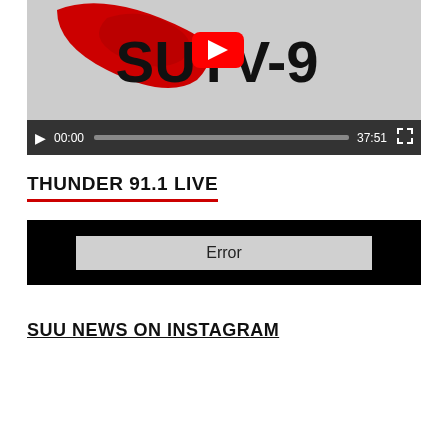[Figure (screenshot): SUTV-9 YouTube video player showing logo with red swoosh and YouTube play button overlay, with video controls bar showing 00:00 timestamp and 37:51 duration]
THUNDER 91.1 LIVE
[Figure (screenshot): Black media player box displaying an Error message in a grey rounded rectangle]
SUU NEWS ON INSTAGRAM